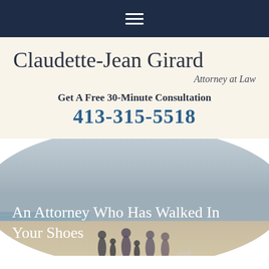Navigation menu icon (hamburger)
Claudette-Jean Girard
Attorney at Law
Get A Free 30-Minute Consultation
413-315-5518
[Figure (photo): Family walking on a beach — group of adults and children with a dog, photographed from behind in soft natural light, displayed inside an oval/elliptical crop]
An Attorney Who Has Walked In Your Shoes